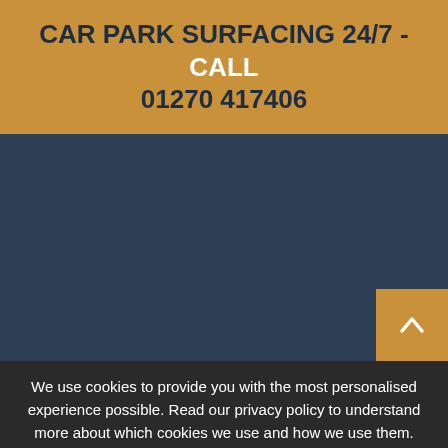CAR PARK SURFACING 24/7 - CALL 01270 417406
[Figure (other): Dark blue-grey background section with a gold scroll-to-top button in the bottom-right corner containing an upward chevron arrow.]
We use cookies to provide you with the most personalised experience possible. Read our privacy policy to understand more about which cookies we use and how we use them.
Find out more   OK, Got It!